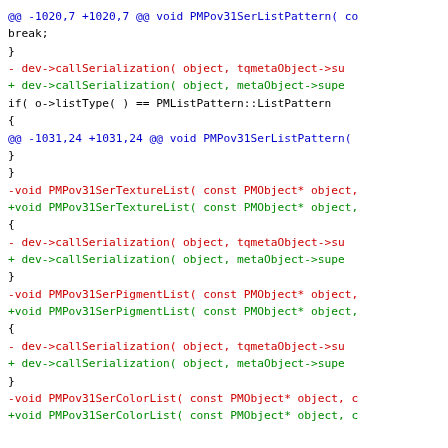[Figure (screenshot): Code diff showing changes in C++ source file, with diff hunk headers in blue, removed lines in red, added lines in green, and context lines in black. The diff covers PMPov31SerListPattern, PMPov31SerTextureList, PMPov31SerPigmentList, and PMPov31SerColorList functions, replacing tqmetaObject->su with metaObject->supe in callSerialization calls.]